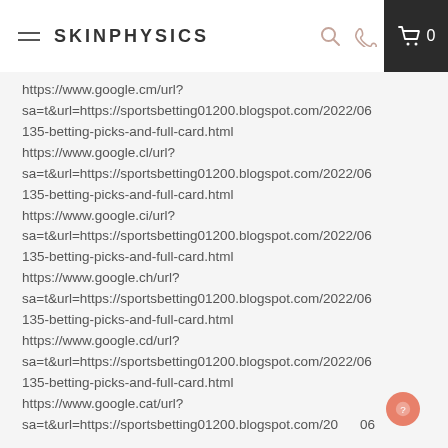SKINPHYSICS
https://www.google.cm/url?sa=t&url=https://sportsbetting01200.blogspot.com/2022/06/135-betting-picks-and-full-card.html
https://www.google.cl/url?sa=t&url=https://sportsbetting01200.blogspot.com/2022/06/135-betting-picks-and-full-card.html
https://www.google.ci/url?sa=t&url=https://sportsbetting01200.blogspot.com/2022/06/135-betting-picks-and-full-card.html
https://www.google.ch/url?sa=t&url=https://sportsbetting01200.blogspot.com/2022/06/135-betting-picks-and-full-card.html
https://www.google.cd/url?sa=t&url=https://sportsbetting01200.blogspot.com/2022/06/135-betting-picks-and-full-card.html
https://www.google.cat/url?sa=t&url=https://sportsbetting01200.blogspot.com/2022/06/